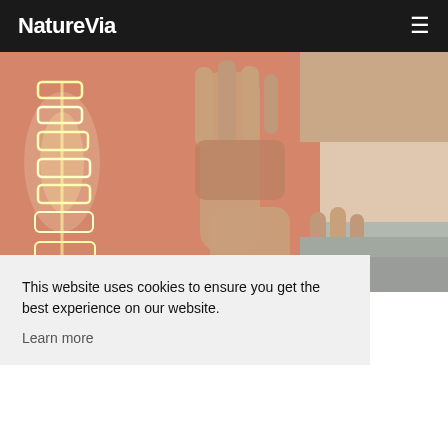NatureVia
[Figure (photo): Close-up medical illustration showing a glowing illuminated spine/vertebrae overlaid on a person's back with hands pressing on the lower back area, suggesting back pain or chiropractic treatment]
This website uses cookies to ensure you get the best experience on our website.
Learn more